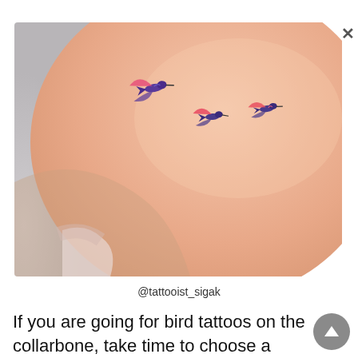[Figure (photo): Photograph of a person's upper back/shoulder area showing three small colorful hummingbird tattoos in blue, purple, and orange/red watercolor style on skin near the collarbone area.]
@tattooist_sigak
If you are going for bird tattoos on the collarbone, take time to choose a species with the symbolism